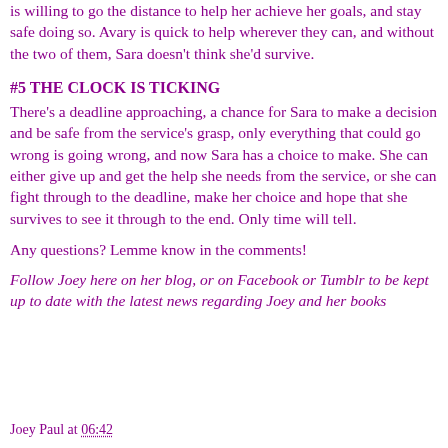is willing to go the distance to help her achieve her goals, and stay safe doing so. Avary is quick to help wherever they can, and without the two of them, Sara doesn't think she'd survive.
#5 THE CLOCK IS TICKING
There's a deadline approaching, a chance for Sara to make a decision and be safe from the service's grasp, only everything that could go wrong is going wrong, and now Sara has a choice to make. She can either give up and get the help she needs from the service, or she can fight through to the deadline, make her choice and hope that she survives to see it through to the end. Only time will tell.
Any questions? Lemme know in the comments!
Follow Joey here on her blog, or on Facebook or Tumblr to be kept up to date with the latest news regarding Joey and her books
Joey Paul at 06:42